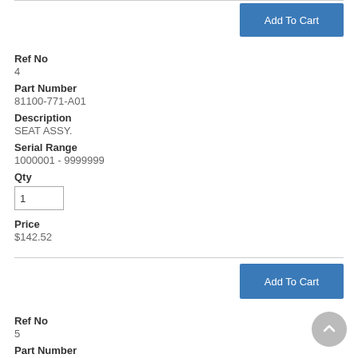Add To Cart
Ref No
4
Part Number
81100-771-A01
Description
SEAT ASSY.
Serial Range
1000001 - 9999999
Qty
Price
$142.52
Add To Cart
Ref No
5
Part Number
81110-771-000